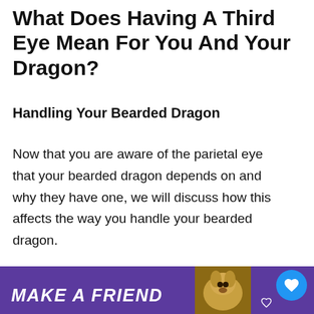What Does Having A Third Eye Mean For You And Your Dragon?
Handling Your Bearded Dragon
Now that you are aware of the parietal eye that your bearded dragon depends on and why they have one, we will discuss how this affects the way you handle your bearded dragon.
[Figure (photo): A bearded dragon lizard being held in a human hand, close-up photo with yellow-green background]
Since beard
dra
on their third
[Figure (infographic): WHAT'S NEXT arrow label with thumbnail of bearded dragon and text: Why Do Bearded...]
[Figure (infographic): Ad banner: MAKE A FRIEND with purple background and dog image]